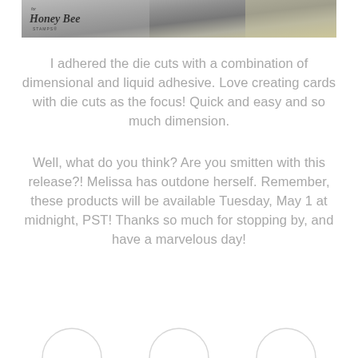[Figure (photo): Partial photo of craft supplies including a Honey Bee Stamps logo, metallic and textured paper pieces.]
I adhered the die cuts with a combination of dimensional and liquid adhesive. Love creating cards with die cuts as the focus! Quick and easy and so much dimension.
Well, what do you think? Are you smitten with this release?! Melissa has outdone herself. Remember, these products will be available Tuesday, May 1 at midnight, PST! Thanks so much for stopping by, and have a marvelous day!
[Figure (other): Three partially visible circular profile photo placeholders at the bottom of the page.]